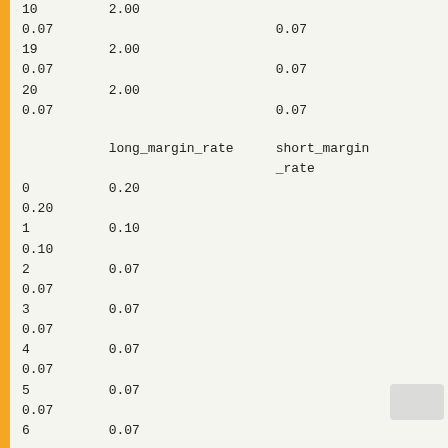|  | long_margin_rate | short_margin_rate |
| --- | --- | --- |
| 10 | 2.00 |  |
| 0.07 |  | 0.07 |
| 19 | 2.00 |  |
| 0.07 |  | 0.07 |
| 20 | 2.00 |  |
| 0.07 |  | 0.07 |
|  | long_margin_rate | short_margin_rate |
| 0 | 0.20 |  |
| 0.20 |  |  |
| 1 | 0.10 |  |
| 0.10 |  |  |
| 2 | 0.07 |  |
| 0.07 |  |  |
| 3 | 0.07 |  |
| 0.07 |  |  |
| 4 | 0.07 |  |
| 0.07 |  |  |
| 5 | 0.07 |  |
| 0.07 |  |  |
| 6 | 0.07 |  |